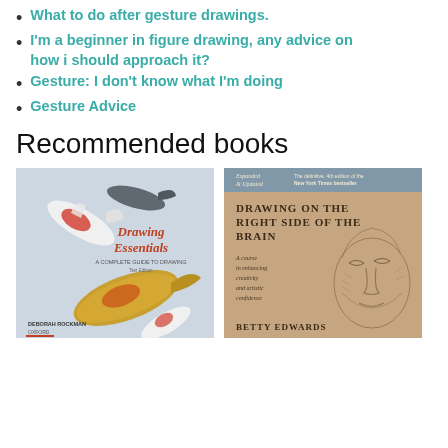What to do after gesture drawings.
I'm a beginner in figure drawing, any advice on how i should approach it?
Gesture: I don't know what I'm doing
Gesture Advice
Recommended books
[Figure (photo): Book cover of 'Drawing Essentials: A Complete Guide to Drawing' by Deborah Rockman, published by Oxford. Cover shows koi fish on a light background.]
[Figure (photo): Book cover of 'Drawing on the Right Side of the Brain' by Betty Edwards. Expanded & Updated, 4th edition New York Times bestseller. Cover shows a sketch of a face on a tan/brown background.]